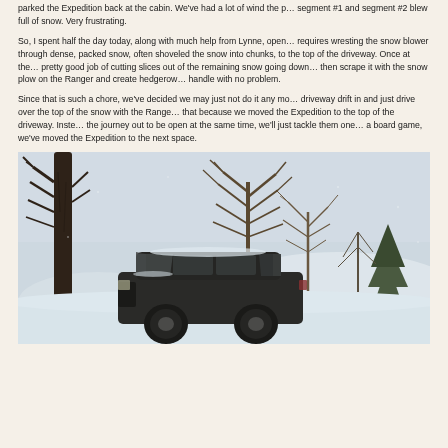parked the Expedition back at the cabin. We've had a lot of wind the past few days that blew segment #1 and segment #2 blew full of snow. Very frustrating.
So, I spent half the day today, along with much help from Lynne, open... requires wresting the snow blower through dense, packed snow, often shoveled the snow into chunks, to the top of the driveway. Once at the... pretty good job of cutting slices out of the remaining snow going down... then scrape it with the snow plow on the Ranger and create hedgerow... handle with no problem.
Since that is such a chore, we've decided we may just not do it any mo... driveway drift in and just drive over the top of the snow with the Range... that because we moved the Expedition to the top of the driveway. Inste... the journey out to be open at the same time, we'll just tackle them one... a board game, we've moved the Expedition to the next space.
[Figure (photo): A dark SUV (Ford Expedition) parked in a snowy, overcast winter scene with bare trees and snow-covered landscape in background.]